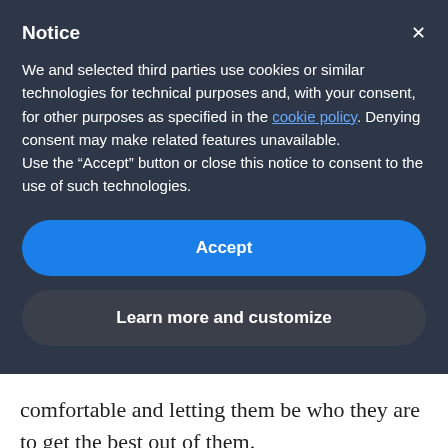Notice
We and selected third parties use cookies or similar technologies for technical purposes and, with your consent, for other purposes as specified in the cookie policy. Denying consent may make related features unavailable.
Use the “Accept” button or close this notice to consent to the use of such technologies.
Accept
Learn more and customize
comfortable and letting them be who they are to get the best out of them.
In moments of crisis, is it harder than usual to build a team?